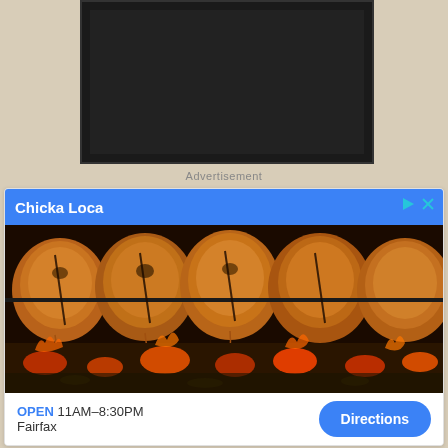[Figure (photo): Dark oven or grill appliance viewed from front, dark rectangular shape on beige/linen textured background]
Advertisement
[Figure (photo): Advertisement card for Chicka Loca restaurant. Blue header with white text 'Chicka Loca'. Photo shows rotisserie chickens cooking over open flames/embers. Bottom shows OPEN 11AM-8:30PM, Fairfax, and a blue Directions button.]